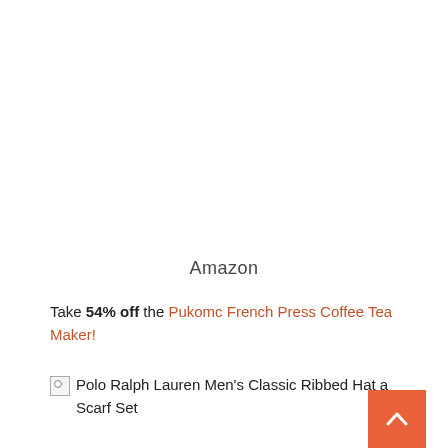Amazon
Take 54% off the Pukomc French Press Coffee Tea Maker!
[Figure (photo): Broken image placeholder for Polo Ralph Lauren Men's Classic Ribbed Hat and Scarf Set]
Polo Ralph Lauren Men's Classic Ribbed Hat and Scarf Set